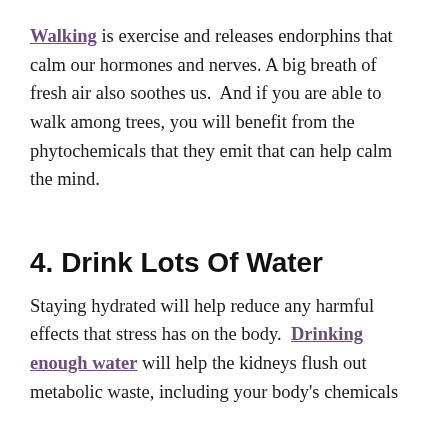Walking is exercise and releases endorphins that calm our hormones and nerves. A big breath of fresh air also soothes us.  And if you are able to walk among trees, you will benefit from the phytochemicals that they emit that can help calm the mind.
4. Drink Lots Of Water
Staying hydrated will help reduce any harmful effects that stress has on the body.  Drinking enough water will help the kidneys flush out metabolic waste, including your body's chemicals that...